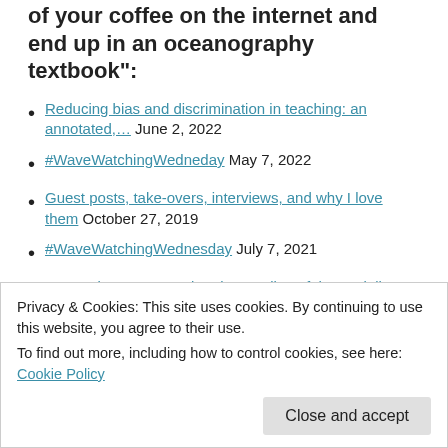of your coffee on the internet and end up in an oceanography textbook":
Reducing bias and discrimination in teaching: an annotated,… June 2, 2022
#WaveWatchingWedneday May 7, 2022
Guest posts, take-overs, interviews, and why I love them October 27, 2019
#WaveWatchingWednesday July 7, 2021
Supporting conceptual understanding of the Coriolis force… May 3, 2019
Privacy & Cookies: This site uses cookies. By continuing to use this website, you agree to their use.
To find out more, including how to control cookies, see here: Cookie Policy